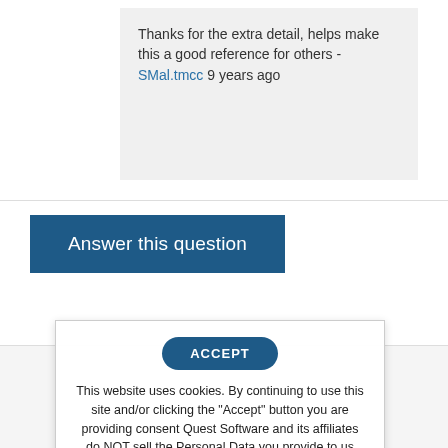Thanks for the extra detail, helps make this a good reference for others - SMal.tmcc 9 years ago
Answer this question
Pos
ACCEPT
This website uses cookies. By continuing to use this site and/or clicking the "Accept" button you are providing consent Quest Software and its affiliates do NOT sell the Personal Data you provide to us either when you register on our websites or